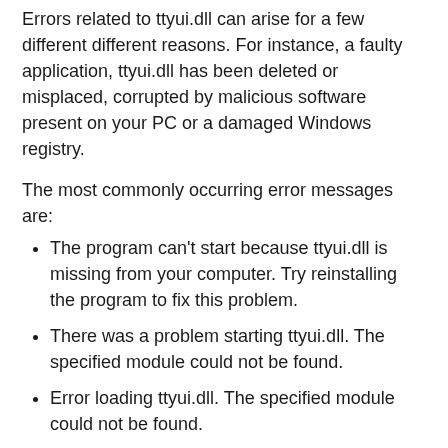Errors related to ttyui.dll can arise for a few different different reasons. For instance, a faulty application, ttyui.dll has been deleted or misplaced, corrupted by malicious software present on your PC or a damaged Windows registry.
The most commonly occurring error messages are:
The program can't start because ttyui.dll is missing from your computer. Try reinstalling the program to fix this problem.
There was a problem starting ttyui.dll. The specified module could not be found.
Error loading ttyui.dll. The specified module could not be found.
The code execution cannot proceed because ttyui.dll was not found. Reinstalling the program may fix this problem.
ttyui.dll is either not designed to run on Windows or it contains an error. Try installing the program again using the original installation media or contact your system administrator or the software vender for support.